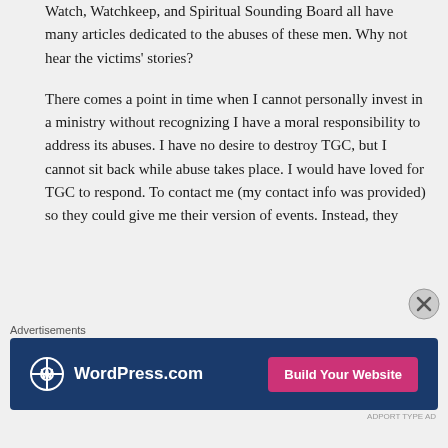Watch, Watchkeep, and Spiritual Sounding Board all have many articles dedicated to the abuses of these men. Why not hear the victims' stories?
There comes a point in time when I cannot personally invest in a ministry without recognizing I have a moral responsibility to address its abuses. I have no desire to destroy TGC, but I cannot sit back while abuse takes place. I would have loved for TGC to respond. To contact me (my contact info was provided) so they could give me their version of events. Instead, they
Advertisements
[Figure (other): WordPress.com advertisement banner with dark blue background, WordPress logo on the left, and a pink 'Build Your Website' button on the right]